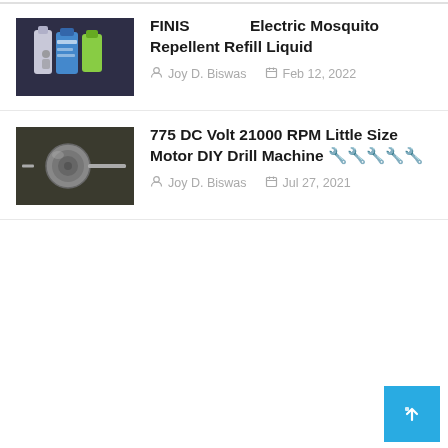FINIS  Electric Mosquito Repellent Refill Liquid — Joy D. Biswas, Feb 12, 2022
775 DC Volt 21000 RPM Little Size Motor DIY Drill Machine 🔧🔧🔧🔧🔧 — Joy D. Biswas, Jul 27, 2021
[Figure (photo): Thumbnail image of FINIS Electric Mosquito Repellent Refill Liquid product bottles]
[Figure (photo): Thumbnail image of a 775 DC motor with a drill shaft attachment]